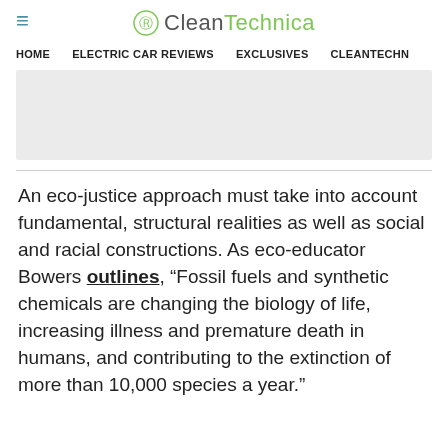≡ CleanTechnica
HOME   ELECTRIC CAR REVIEWS   EXCLUSIVES   CLEANTECHN
[Figure (other): Gray advertisement placeholder rectangle]
An eco-justice approach must take into account fundamental, structural realities as well as social and racial constructions. As eco-educator Bowers outlines, “Fossil fuels and synthetic chemicals are changing the biology of life, increasing illness and premature death in humans, and contributing to the extinction of more than 10,000 species a year.”